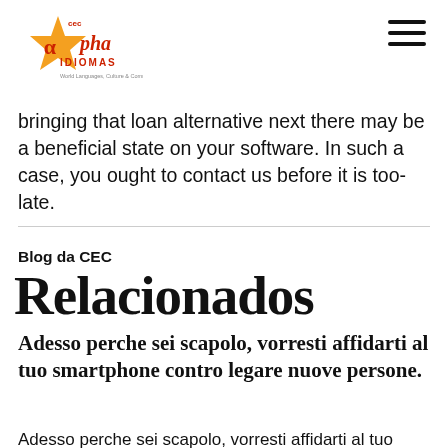CEC Alpha Idiomas — World Languages, Culture & Communication
bringing that loan alternative next there may be a beneficial state on your software. In such a case, you ought to contact us before it is too-late.
Blog da CEC
Relacionados
Adesso perche sei scapolo, vorresti affidarti al tuo smartphone contro legare nuove persone.
Adesso perche sei scapolo, vorresti affidarti al tuo smartphone contro legare nuove persone.